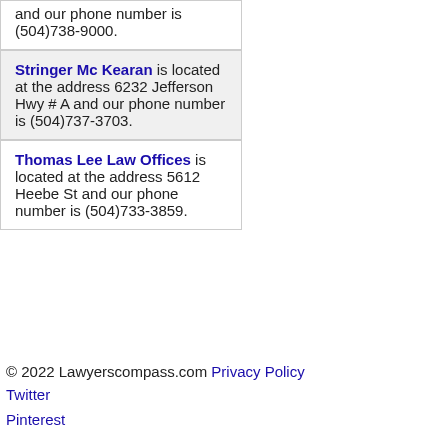and our phone number is (504)738-9000.
Stringer Mc Kearan is located at the address 6232 Jefferson Hwy # A and our phone number is (504)737-3703.
Thomas Lee Law Offices is located at the address 5612 Heebe St and our phone number is (504)733-3859.
© 2022 Lawyerscompass.com Privacy Policy Twitter Pinterest